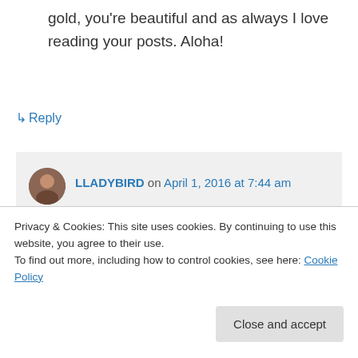gold, you're beautiful and as always I love reading your posts. Aloha!
↳ Reply
LLADYBIRD on April 1, 2016 at 7:44 am
Aw thank you so much Catherine! Enjoy that birthday season travel – you've earned it! 🙂
Privacy & Cookies: This site uses cookies. By continuing to use this website, you agree to their use.
To find out more, including how to control cookies, see here: Cookie Policy
Close and accept